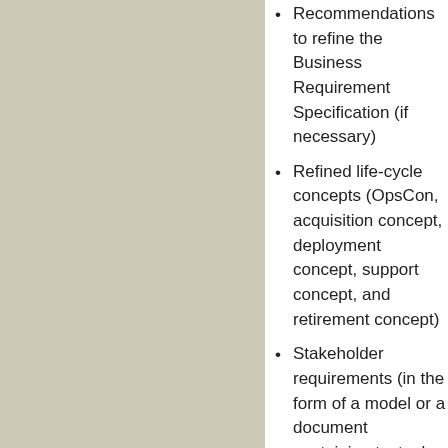Recommendations to refine the Business Requirement Specification (if necessary)
Refined life-cycle concepts (OpsCon, acquisition concept, deployment concept, support concept, and retirement concept)
Stakeholder requirements (in the form of a model or a document containing textual requirements, such as the Stakeholder Requirement Specification)